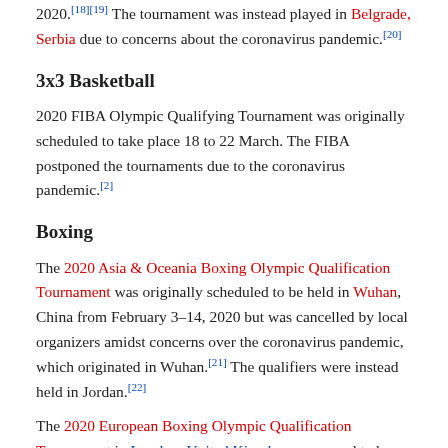2020.[18][19] The tournament was instead played in Belgrade, Serbia due to concerns about the coronavirus pandemic.[20]
3x3 Basketball
2020 FIBA Olympic Qualifying Tournament was originally scheduled to take place 18 to 22 March. The FIBA postponed the tournaments due to the coronavirus pandemic.[2]
Boxing
The 2020 Asia & Oceania Boxing Olympic Qualification Tournament was originally scheduled to be held in Wuhan, China from February 3–14, 2020 but was cancelled by local organizers amidst concerns over the coronavirus pandemic, which originated in Wuhan.[21] The qualifiers were instead held in Jordan.[22]
The 2020 European Boxing Olympic Qualification Tournament in London, United Kingdom, supposed to be held from 14–24 March, was suspended after three days.[23]
Cycling
BMX